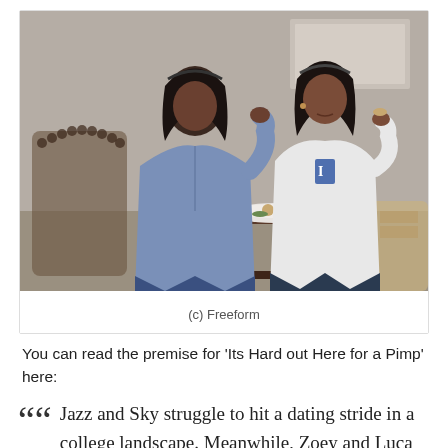[Figure (photo): Two young women sitting at a restaurant table eating food and drinking iced beverages. The woman on the left wears a denim jacket and the woman on the right wears a white sweatshirt.]
(c) Freeform
You can read the premise for 'Its Hard out Here for a Pimp' here:
Jazz and Sky struggle to hit a dating stride in a college landscape. Meanwhile, Zoey and Luca attempt to buckle down to complete a project.